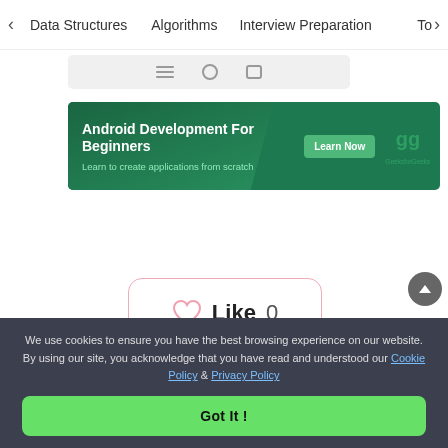< Data Structures   Algorithms   Interview Preparation   To>
[Figure (screenshot): Phone navigation bar with back, home, and recent apps icons]
[Figure (infographic): GeeksforGeeks advertisement banner: Android Development For Beginners - Learn to create applications from scratch, with Learn Now button and GeeksforGeeks logo]
[Figure (infographic): Like button widget with heart icon, Like text, and count of 0]
We use cookies to ensure you have the best browsing experience on our website. By using our site, you acknowledge that you have read and understood our Cookie Policy & Privacy Policy
Got It !